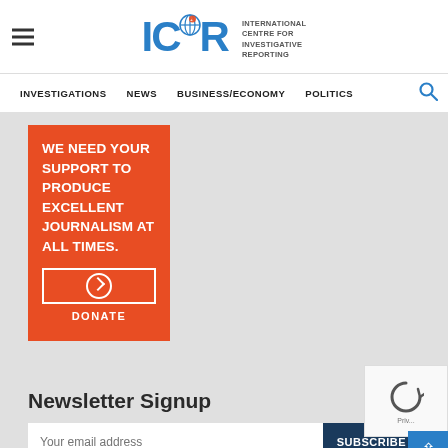ICIR - International Centre for Investigative Reporting
INVESTIGATIONS  NEWS  BUSINESS/ECONOMY  POLITICS
WE NEED YOUR SUPPORT TO PRODUCE EXCELLENT JOURNALISM AT ALL TIMES.
DONATE
Newsletter Signup
Your email address
SUBSCRIBE